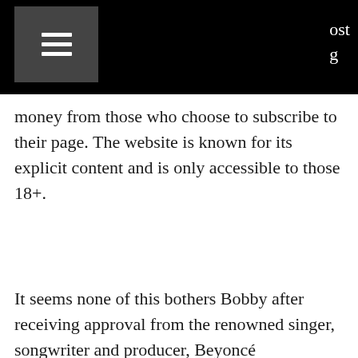ost
g
money from those who choose to subscribe to their page. The website is known for its explicit content and is only accessible to those 18+.
It seems none of this bothers Bobby after receiving approval from the renowned singer, songwriter and producer, Beyoncé